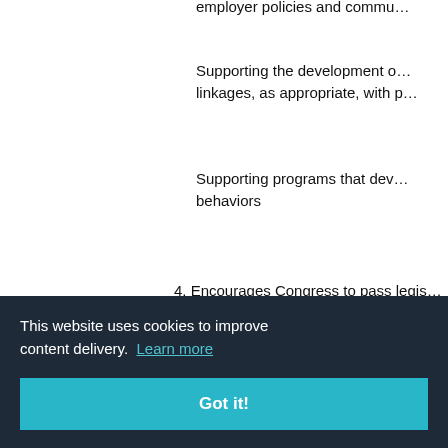employer policies and commu…
Supporting the development o… linkages, as appropriate, with p…
Supporting programs that dev… behaviors
4. Encourages Congress to pass legis… coverage for all that includes phys… promotes prevention as well as ac…
5. Supports that a uniform set of cor… … policy at…
…ment to s…
…bility for th…
…to the mo… children d… the juvenile justice system)
This website uses cookies to improve content delivery. Learn more
Got it!